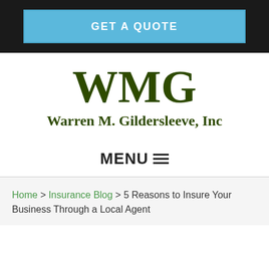[Figure (screenshot): Blue 'GET A QUOTE' button on dark background header bar]
[Figure (logo): WMG Warren M. Gildersleeve, Inc company logo in dark green serif font]
MENU☰
Home > Insurance Blog > 5 Reasons to Insure Your Business Through a Local Agent